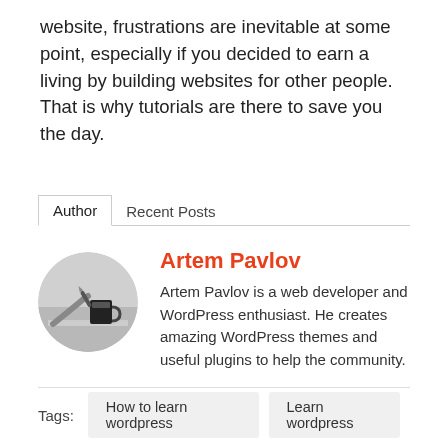website, frustrations are inevitable at some point, especially if you decided to earn a living by building websites for other people. That is why tutorials are there to save you the day.
Author | Recent Posts
[Figure (photo): Circular grayscale avatar photo of a person writing with a pen, with a coffee cup nearby.]
Artem Pavlov
Artem Pavlov is a web developer and WordPress enthusiast. He creates amazing WordPress themes and useful plugins to help the community.
Tags: How to learn wordpress | Learn wordpress